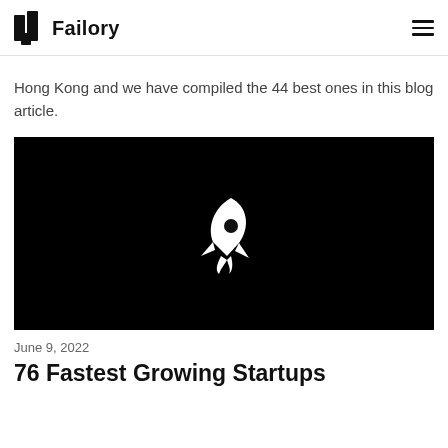Failory
Hong Kong and we have compiled the 44 best ones in this blog article.
[Figure (illustration): Black background image with a white rocket ship icon in the center]
June 9, 2022
76 Fastest Growing Startups